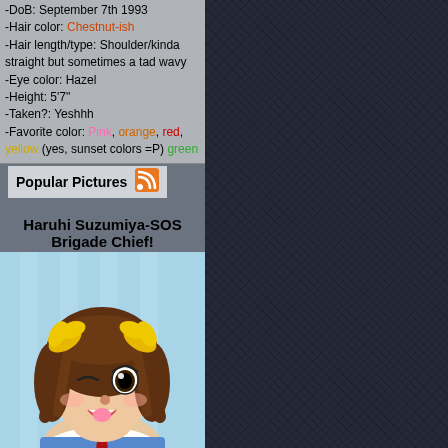-DoB: September 7th 1993
-Hair color: Chestnut-ish
-Hair length/type: Shoulder/kinda straight but sometimes a tad wavy
-Eye color: Hazel
-Height: 5'7"
-Taken?: Yeshhh
-Favorite color: Pink, orange, red, yellow (yes, sunset colors =P) green
Popular Pictures
Haruhi Suzumiya-SOS Brigade Chief!
[Figure (illustration): Anime illustration of Haruhi Suzumiya character from SOS Brigade, shown as a girl with brown hair tied with yellow ribbons, wearing a blue and white school uniform with a red ribbon/tie, winking and sticking out tongue, light blue background]